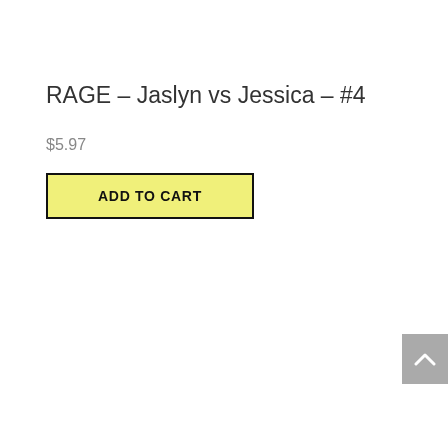RAGE – Jaslyn vs Jessica – #4
$5.97
ADD TO CART